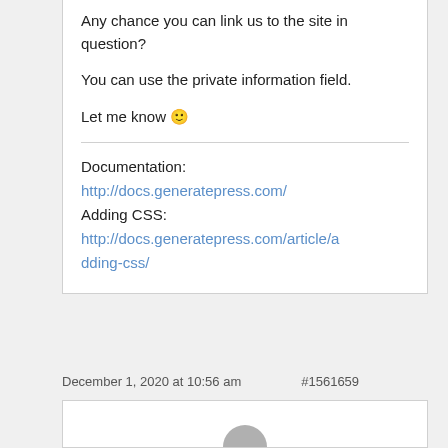Any chance you can link us to the site in question?
You can use the private information field.
Let me know 🙂
Documentation: http://docs.generatepress.com/ Adding CSS: http://docs.generatepress.com/article/adding-css/
December 1, 2020 at 10:56 am   #1561659